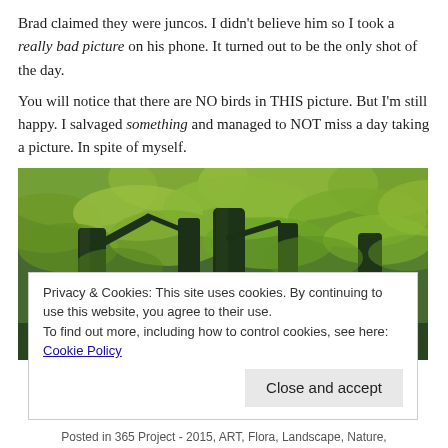Brad claimed they were juncos. I didn't believe him so I took a really bad picture on his phone. It turned out to be the only shot of the day.
You will notice that there are NO birds in THIS picture. But I'm still happy. I salvaged something and managed to NOT miss a day taking a picture. In spite of myself.
[Figure (photo): A photo looking up through dark tree trunks at a dense green canopy of leaves, tinted with a vintage greenish filter.]
Privacy & Cookies: This site uses cookies. By continuing to use this website, you agree to their use.
To find out more, including how to control cookies, see here: Cookie Policy
Posted in 365 Project - 2015, ART, Flora, Landscape, Nature,